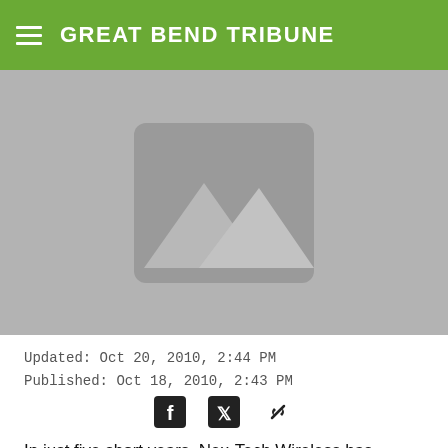GREAT BEND TRIBUNE
[Figure (photo): Placeholder image with mountain/landscape icon on gray background]
Updated: Oct 20, 2010, 2:44 PM
Published: Oct 18, 2010, 2:43 PM
[Figure (infographic): Social share icons: Facebook, Twitter, link/chain]
In just five short years, Nex-Tech Wireless has become a leader amongst rural wireless carriers. Upon launching service on Oct.